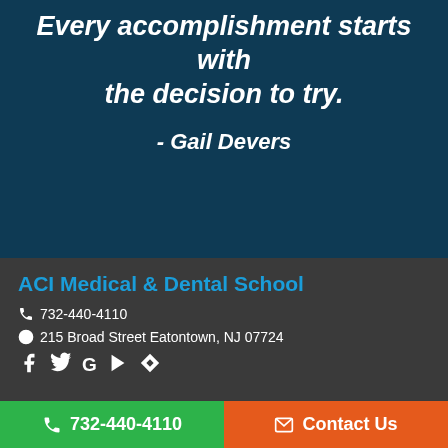Every accomplishment starts with the decision to try.
- Gail Devers
ACI Medical & Dental School
732-440-4110
215 Broad Street Eatontown, NJ 07724
732-440-4110   Contact Us